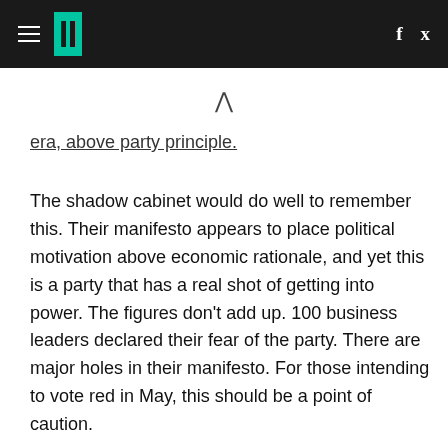HuffPost header with hamburger menu, logo, and social icons (f, twitter)
era, above party principle.
The shadow cabinet would do well to remember this. Their manifesto appears to place political motivation above economic rationale, and yet this is a party that has a real shot of getting into power. The figures don't add up. 100 business leaders declared their fear of the party. There are major holes in their manifesto. For those intending to vote red in May, this should be a point of caution.